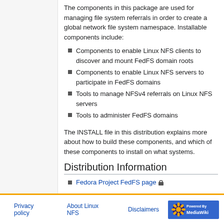The components in this package are used for managing file system referrals in order to create a global network file system namespace. Installable components include:
Components to enable Linux NFS clients to discover and mount FedFS domain roots
Components to enable Linux NFS servers to participate in FedFS domains
Tools to manage NFSv4 referrals on Linux NFS servers
Tools to administer FedFS domains
The INSTALL file in this distribution explains more about how to build these components, and which of these components to install on what systems.
Distribution Information
Fedora Project FedFS page
Privacy policy  About Linux NFS  Disclaimers  Powered By MediaWiki